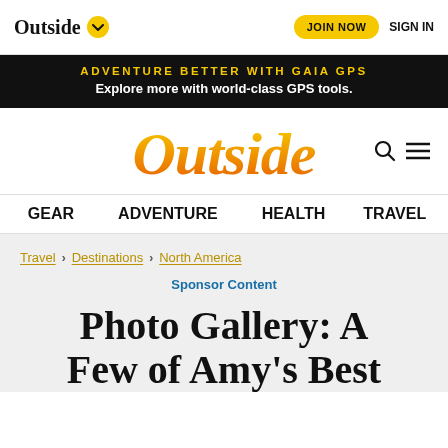Outside ∨  JOIN NOW  SIGN IN
[Figure (screenshot): Black ad banner: ADVENTURE BETTER WITH GAIA GPS — Explore more with world-class GPS tools.]
[Figure (logo): Outside magazine logo in orange/yellow gradient script font, with search and hamburger menu icons to the right]
GEAR  ADVENTURE  HEALTH  TRAVEL
Travel › Destinations › North America
Sponsor Content
Photo Gallery: A Few of Amy's Best